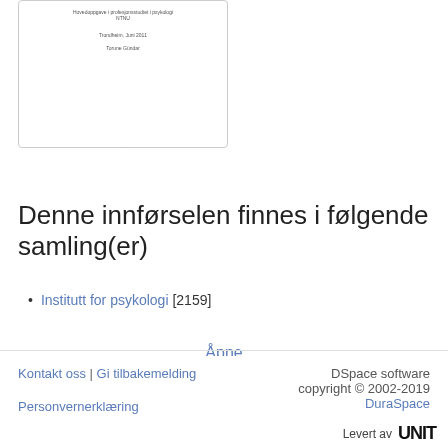[Figure (screenshot): Thumbnail of a document page showing small Norwegian text: 'Hovedoppgave i profesjonsstudiet i psykologi NTNU', 'Trondheim, Juni 2011', 'Torune Gündar']
Åpne
Denne innførselen finnes i følgende samling(er)
Institutt for psykologi [2159]
Vis enkel innførsel
Kontakt oss | Gi tilbakemelding | DSpace software copyright © 2002-2019 DuraSpace | Personvernerklæring | Levert av UNIT